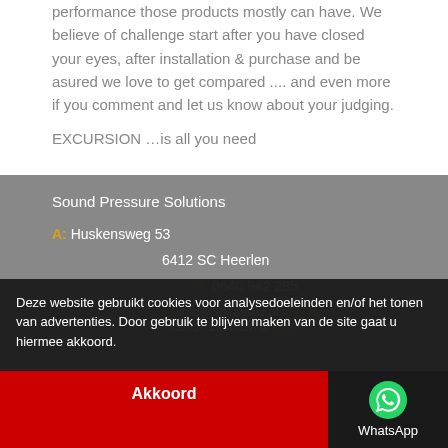performance those products mostly can have. We believe of challenge start after you have closed your eyes, after installation & purchase and be asured we love to get compared .... and even more if you comment and let us know about your judging.

EXCURSION …is all you need
Sound Pressure Solutions
A: Huskensweg 53
6412 SC Heerlen
M: 0640 942 285
E: info@spsaudio.nl  BTW: NL001811302B78 KVK:
Deze website gebruikt cookies voor analyse-doeleinden en/of het tonen van advertenties. Door gebruik te blijven maken van de site gaat u hiermee akkoord.
Akkoord
[Figure (illustration): WhatsApp icon (green circle with white phone/chat logo) with label 'WhatsApp']